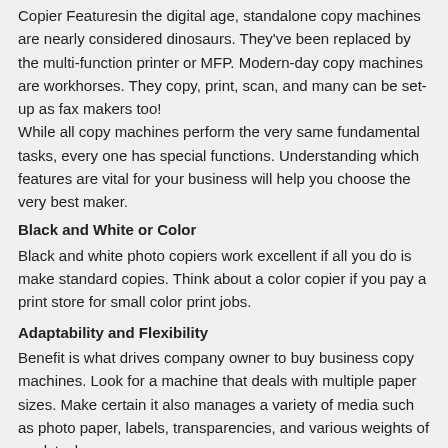Copier Featuresin the digital age, standalone copy machines are nearly considered dinosaurs. They've been replaced by the multi-function printer or MFP. Modern-day copy machines are workhorses. They copy, print, scan, and many can be set-up as fax makers too!
While all copy machines perform the very same fundamental tasks, every one has special functions. Understanding which features are vital for your business will help you choose the very best maker.
Black and White or Color
Black and white photo copiers work excellent if all you do is make standard copies. Think about a color copier if you pay a print store for small color print jobs.
Adaptability and Flexibility
Benefit is what drives company owner to buy business copy machines. Look for a machine that deals with multiple paper sizes. Make certain it also manages a variety of media such as photo paper, labels, transparencies, and various weights of cardstock.
TOP OFFICE EQUIPMENT SUPPLIER BRANDYW...
Copier, copiers and m... ...MD
[Figure (screenshot): Chat overlay with 'How can we help you?' bubble and female avatar with red badge showing 1 notification]